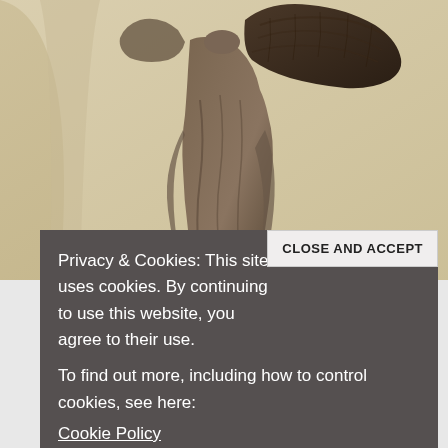[Figure (photo): Photograph of the Winged Victory of Samothrace statue (Nike of Samothrace), a headless ancient Greek marble sculpture with outstretched wings, displayed against a stone wall background. The statue shows draped robes and one large dark wing visible.]
Privacy & Cookies: This site uses cookies. By continuing to use this website, you agree to their use.
To find out more, including how to control cookies, see here:
Cookie Policy
CLOSE AND ACCEPT